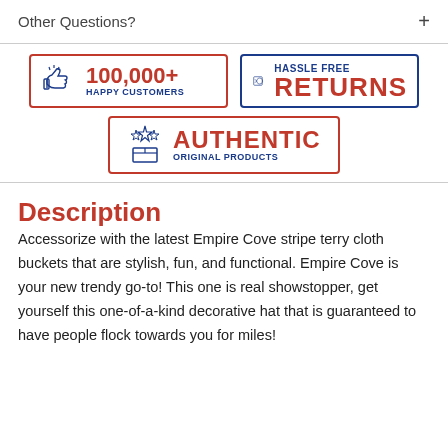Other Questions?
[Figure (infographic): Three trust badges: '100,000+ HAPPY CUSTOMERS' in red with thumbs-up icon, 'HASSLE FREE RETURNS' in blue/red with return icon, and 'AUTHENTIC ORIGINAL PRODUCTS' in red with box/stars icon]
Description
Accessorize with the latest Empire Cove stripe terry cloth buckets that are stylish, fun, and functional. Empire Cove is your new trendy go-to! This one is real showstopper, get yourself this one-of-a-kind decorative hat that is guaranteed to have people flock towards you for miles!